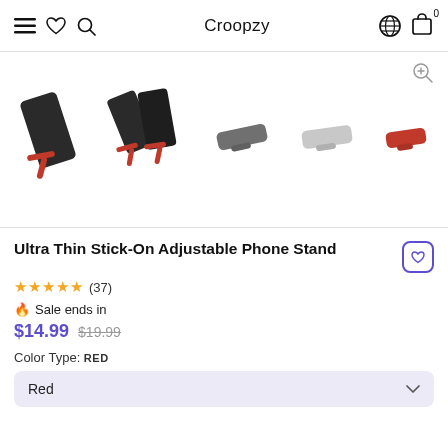Croopzy
[Figure (photo): Five product images of Ultra Thin Stick-On Adjustable Phone Stand: two dark grey phones with stand extended, one grey stand flat, one silver stand flat, one red stand flat]
Ultra Thin Stick-On Adjustable Phone Stand
★★★★★ (37)
🔥 Sale ends in
$14.99 $19.99
Color Type: RED
Red